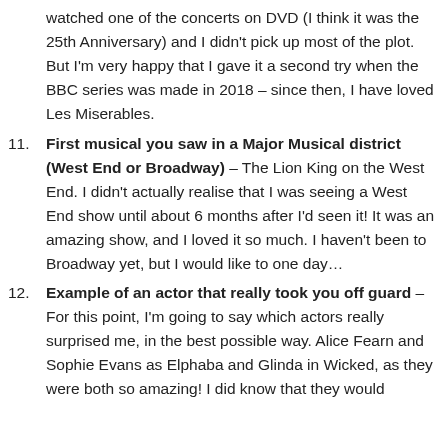watched one of the concerts on DVD (I think it was the 25th Anniversary) and I didn't pick up most of the plot. But I'm very happy that I gave it a second try when the BBC series was made in 2018 – since then, I have loved Les Miserables.
11. First musical you saw in a Major Musical district (West End or Broadway) – The Lion King on the West End. I didn't actually realise that I was seeing a West End show until about 6 months after I'd seen it! It was an amazing show, and I loved it so much. I haven't been to Broadway yet, but I would like to one day…
12. Example of an actor that really took you off guard – For this point, I'm going to say which actors really surprised me, in the best possible way. Alice Fearn and Sophie Evans as Elphaba and Glinda in Wicked, as they were both so amazing! I did know that they would